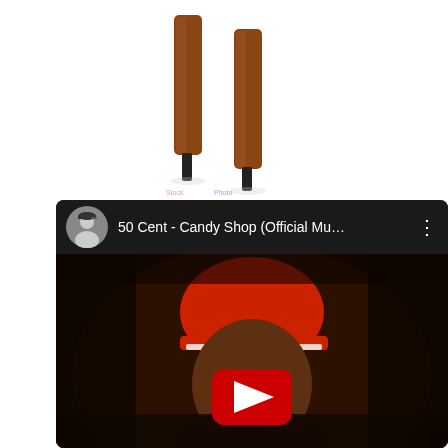[Figure (photo): Two brown wooden cylindrical sticks or batons with black tips on a white background]
[Figure (screenshot): YouTube video card showing '50 Cent - Candy Shop (Official Mu...' with a thumbnail of 50 Cent wearing a red cap with a YouTube play button overlay]